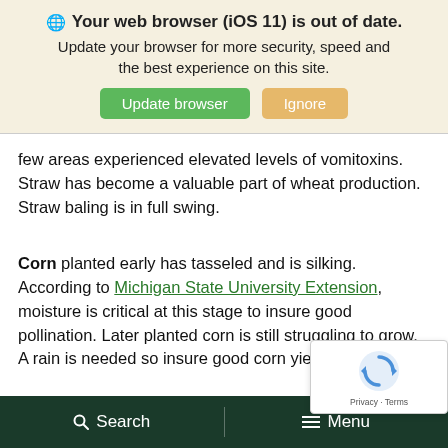[Figure (screenshot): Browser update notification banner with globe icon, bold warning title, subtitle text, and two buttons: green 'Update browser' and orange 'Ignore']
few areas experienced elevated levels of vomitoxins. Straw has become a valuable part of wheat production. Straw baling is in full swing.
Corn planted early has tasseled and is silking. According to Michigan State University Extension, moisture is critical at this stage to insure good pollination. Later planted corn is still struggling to grow. A rain is needed so insure good corn yields.
[Figure (logo): reCAPTCHA widget overlay with spinning arrow logo and Privacy - Terms text]
Search   Menu